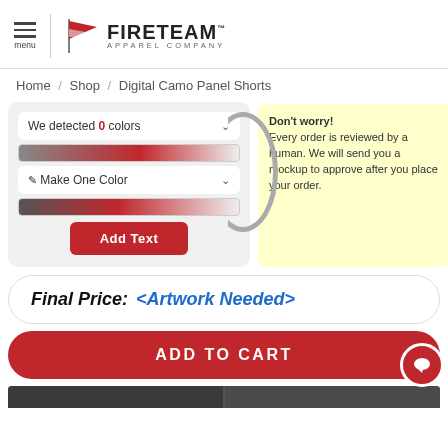FIRETEAM APPAREL COMPANY
Home / Shop / Digital Camo Panel Shorts
We detected 0 colors
Make One Color
Add Text
Don't worry! Every order is reviewed by a human. We will send you a mockup to approve after you place your order.
Final Price: <Artwork Needed>
ADD TO CART